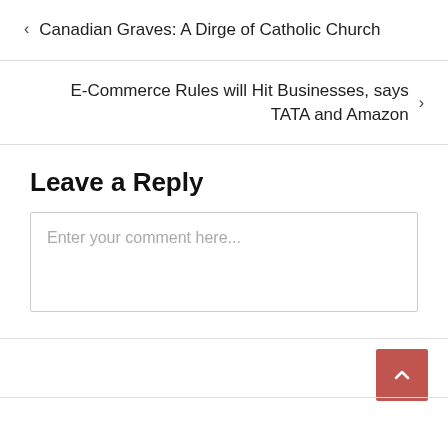< Canadian Graves: A Dirge of Catholic Church
E-Commerce Rules will Hit Businesses, says TATA and Amazon >
Leave a Reply
Enter your comment here...